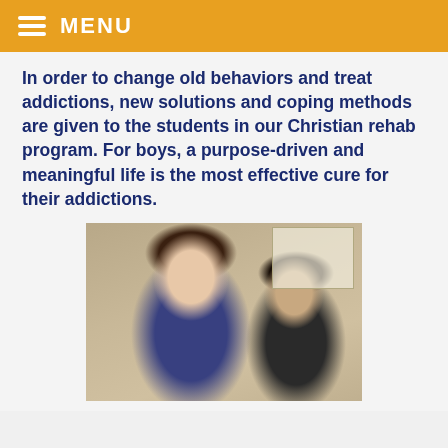MENU
In order to change old behaviors and treat addictions, new solutions and coping methods are given to the students in our Christian rehab program. For boys, a purpose-driven and meaningful life is the most effective cure for their addictions.
[Figure (photo): A smiling woman with curly dark hair in a floral top talking with a teenage boy in a dark jacket, both appearing engaged in a positive interaction in an office setting.]